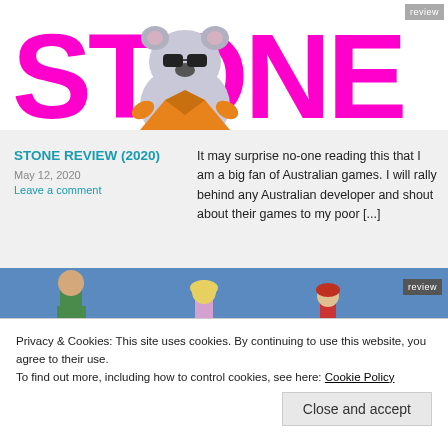[Figure (illustration): Large pink/magenta 'STONE' text logo with a cartoon koala character wearing sunglasses and an orange jacket overlaid in the center. A grey 'review' badge in top right corner.]
STONE REVIEW (2020)
May 12, 2020
Leave a comment
It may surprise no-one reading this that I am a big fan of Australian games. I will rally behind any Australian developer and shout about their games to my poor [...]
[Figure (screenshot): Game screenshot showing animated characters — a tall man in green jacket, a blonde girl, and a boy with red hair — on a blue background. 'review' badge top right. Cookie consent banner overlaid.]
Privacy & Cookies: This site uses cookies. By continuing to use this website, you agree to their use.
To find out more, including how to control cookies, see here: Cookie Policy
Close and accept
OF THE WHITE
Wrath of the White Witch first broke onto the scene